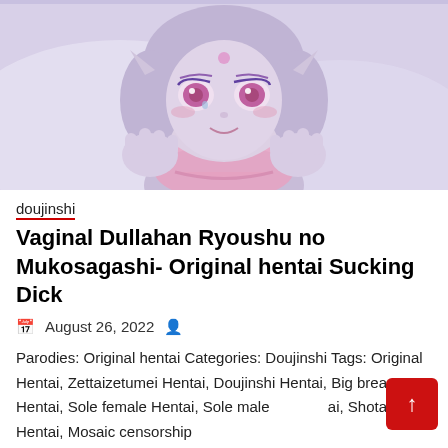[Figure (illustration): Anime-style illustration of a fantasy character with pointed ears, pink/lavender hair, pink eyes, lying down and looking up, with hands raised near face, light purple/blue background tones]
doujinshi
Vaginal Dullahan Ryoushu no Mukosagashi- Original hentai Sucking Dick
August 26, 2022
Parodies: Original hentai Categories: Doujinshi Tags: Original Hentai, Zettaizetumei Hentai, Doujinshi Hentai, Big breasts Hentai, Sole female Hentai, Sole male Hentai, Shotacon Hentai, Mosaic censorship